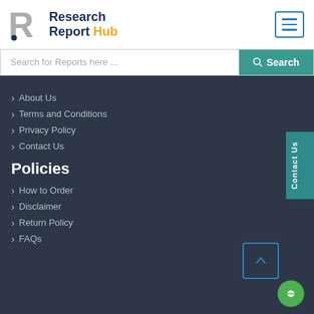[Figure (logo): Research Report Hub logo with stylized R icon and text]
Search for Reports here ...
About Us
Terms and Conditions
Privacy Policy
Contact Us
Policies
How to Order
Disclaimer
Return Policy
FAQs